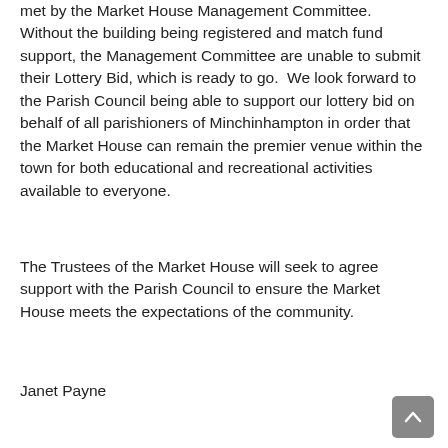met by the Market House Management Committee. Without the building being registered and match fund support, the Management Committee are unable to submit their Lottery Bid, which is ready to go.  We look forward to the Parish Council being able to support our lottery bid on behalf of all parishioners of Minchinhampton in order that the Market House can remain the premier venue within the town for both educational and recreational activities available to everyone.
The Trustees of the Market House will seek to agree support with the Parish Council to ensure the Market House meets the expectations of the community.
Janet Payne